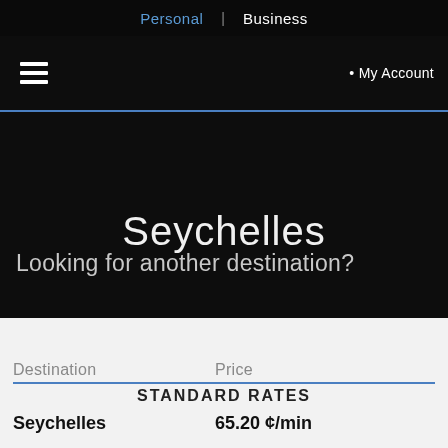Personal | Business
• My Account
Seychelles
Looking for another destination?
| Destination | Price |
| --- | --- |
| STANDARD RATES |  |
| Seychelles | 65.20 ¢/min |